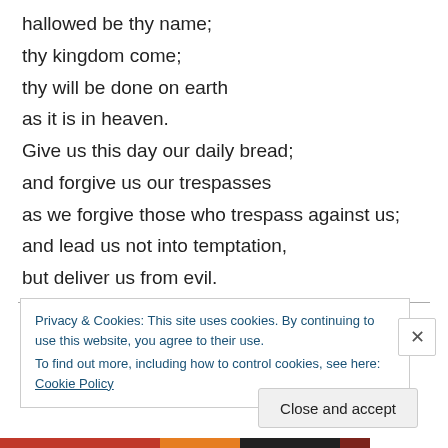hallowed be thy name;
thy kingdom come;
thy will be done on earth
as it is in heaven.
Give us this day our daily bread;
and forgive us our trespasses
as we forgive those who trespass against us;
and lead us not into temptation,
but deliver us from evil.
CONCLUDING PRAYER
Privacy & Cookies: This site uses cookies. By continuing to use this website, you agree to their use.
To find out more, including how to control cookies, see here: Cookie Policy
Close and accept